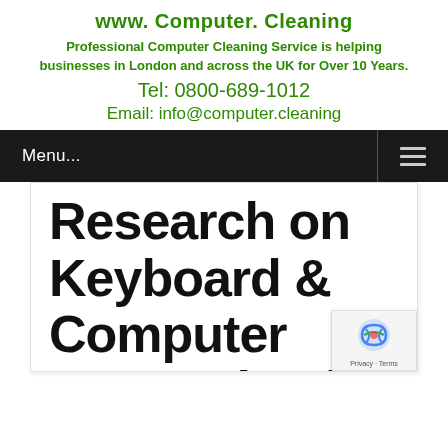www. Computer. Cleaning
Professional Computer Cleaning Service is helping businesses in London and across the UK for Over 10 Years.
Tel: 0800-689-1012
Email: info@computer.cleaning
[Figure (screenshot): Dark navigation bar with 'Menu...' text on the left and hamburger icon on the right]
Research on Keyboard & Computer Contamination &